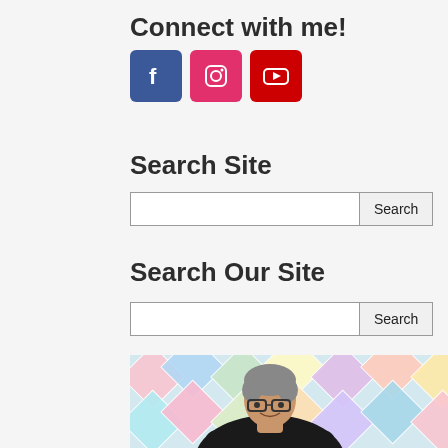Connect with me!
[Figure (infographic): Three social media icons: Facebook (blue), Instagram (pink/red), YouTube (red)]
Search Site
[Figure (screenshot): Search input box with Search button]
Search Our Site
[Figure (screenshot): Search input box with Search button]
[Figure (photo): Person with short grey hair and glasses smiling, standing in front of a colorful quilt background, wearing a black top]